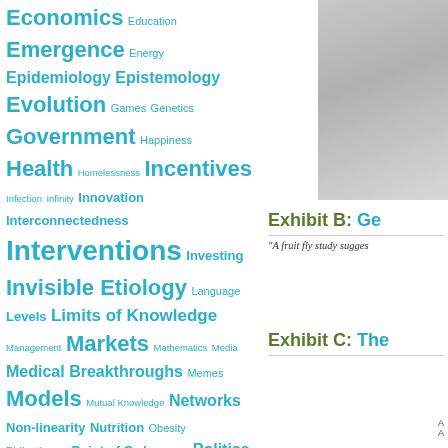[Figure (infographic): Tag cloud of topics in cyan/teal colors with varying font sizes indicating frequency/importance. Topics include Economics, Education, Emergence, Energy, Epidemiology, Epistemology, Evolution, Games, Genetics, Government, Happiness, Health, Homelessness, Incentives, Infection, Infinity, Innovation, Interconnectedness, Interventions, Investing, Invisible Etiology, Language, Levels, Limits of Knowledge, Management, Markets, Mathematics, Media, Medical Breakthroughs, Memes, Models, Mutual Knowledge, Networks, Non-linearity, Nutrition, Obesity, Philanthropy, Point of Order, Poker, Politics, Pop!Tech, Poverty, Psychology, Quantum, Scarcity / Abundance, Science, Science 2.0, Self-Fullfilling Prophecy, Singularity, Social Capital, Social Entrepreneurship, Social Networks, Society, Socio-technical systems, Stability]
[Figure (photo): Partial photo visible on right side, appears to be a person or object, grayscale/muted tones]
Exhibit B: Ge
"A fruit fly study sugges
Exhibit C: The